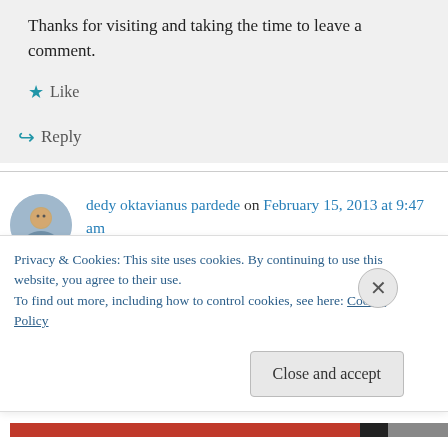Thanks for visiting and taking the time to leave a comment.
Like
Reply
dedy oktavianus pardede on February 15, 2013 at 9:47 am
i just know that there a ell in italian dish…
i always do it in chinese styr fry or grill with
Privacy & Cookies: This site uses cookies. By continuing to use this website, you agree to their use.
To find out more, including how to control cookies, see here: Cookie Policy
Close and accept